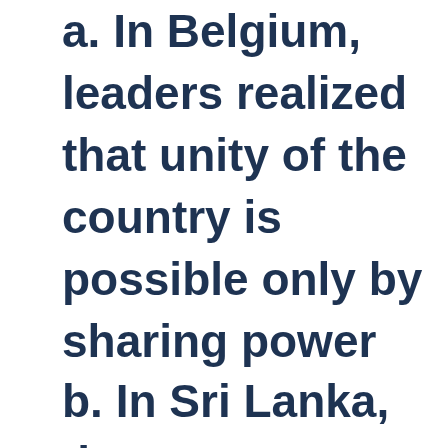a. In Belgium, leaders realized that unity of the country is possible only by sharing power
b. In Sri Lanka, the